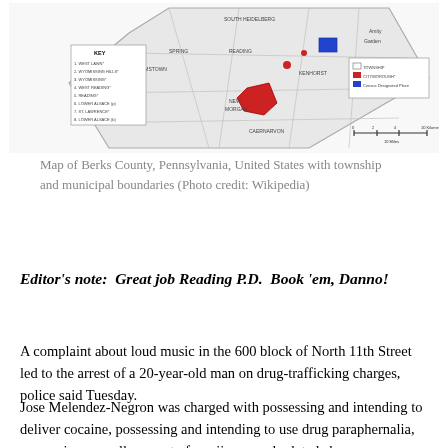[Figure (map): Map of Berks County, Pennsylvania, United States showing township and municipal boundaries with a key, color-coded areas (townships, city boroughs, census designated places), and scale bar.]
Map of Berks County, Pennsylvania, United States with township and municipal boundaries (Photo credit: Wikipedia)
Editor's note:  Great job Reading P.D.  Book 'em, Danno!
A complaint about loud music in the 600 block of North 11th Street led to the arrest of a 20-year-old man on drug-trafficking charges, police said Tuesday.
Jose Melendez-Negron was charged with possessing and intending to deliver cocaine, possessing and intending to use drug paraphernalia, possessing a small amount of marijuana and related charges.